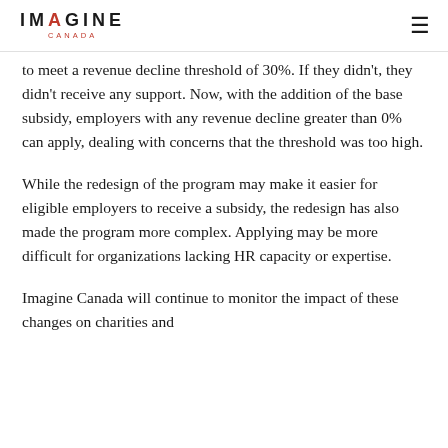IMAGINE CANADA
to meet a revenue decline threshold of 30%. If they didn't, they didn't receive any support. Now, with the addition of the base subsidy, employers with any revenue decline greater than 0% can apply, dealing with concerns that the threshold was too high.
While the redesign of the program may make it easier for eligible employers to receive a subsidy, the redesign has also made the program more complex. Applying may be more difficult for organizations lacking HR capacity or expertise.
Imagine Canada will continue to monitor the impact of these changes on charities and